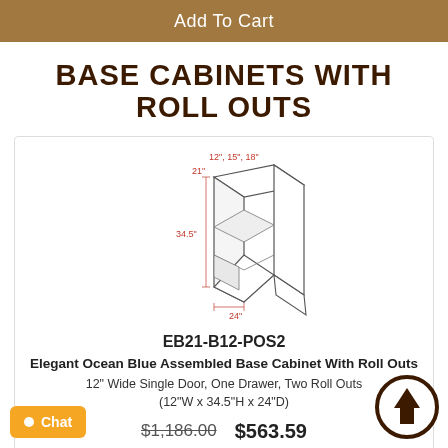Add To Cart
BASE CABINETS WITH ROLL OUTS
[Figure (engineering-diagram): Line drawing of a base cabinet with roll outs, showing dimensions: 12", 15", 18" width, 21" (unknown), 34.5" height, 24" depth. Cabinet shown in isometric view with open door and pull-out drawer.]
EB21-B12-POS2
Elegant Ocean Blue Assembled Base Cabinet With Roll Outs
12" Wide Single Door, One Drawer, Two Roll Outs
(12"W x 34.5"H x 24"D)
$1,186.00  $563.59
1